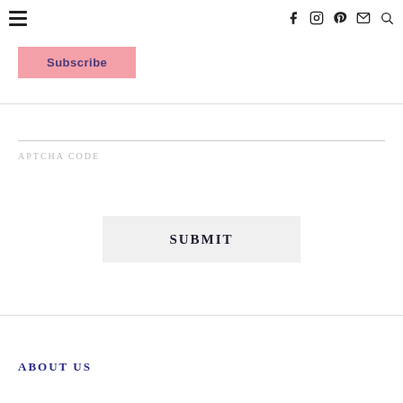Navigation bar with hamburger menu and social icons (Facebook, Instagram, Pinterest, Email, Search)
Subscribe
APTCHA CODE
SUBMIT
ABOUT US